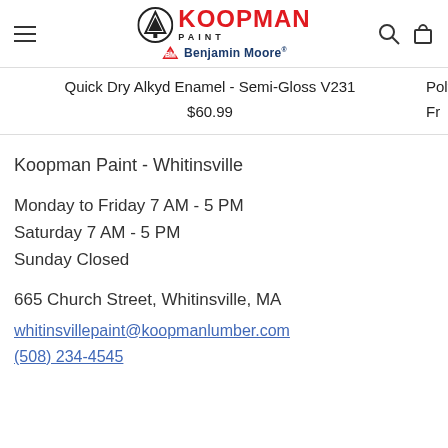Koopman Paint / Benjamin Moore — navigation header
Quick Dry Alkyd Enamel - Semi-Gloss V231
$60.99
Polyam... Fr...
Koopman Paint - Whitinsville
Monday to Friday 7 AM - 5 PM
Saturday 7 AM - 5 PM
Sunday Closed
665 Church Street, Whitinsville, MA
whitinsvillepaint@koopmanlumber.com
(508) 234-4545